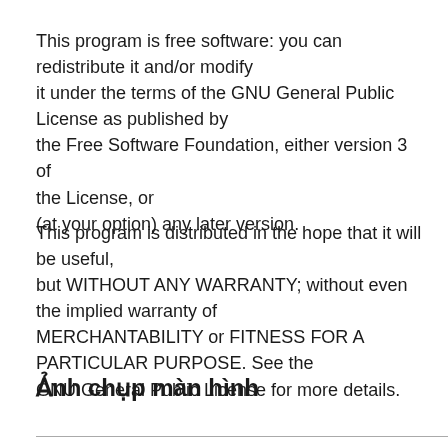This program is free software: you can redistribute it and/or modify it under the terms of the GNU General Public License as published by the Free Software Foundation, either version 3 of the License, or (at your option) any later version.
This program is distributed in the hope that it will be useful, but WITHOUT ANY WARRANTY; without even the implied warranty of MERCHANTABILITY or FITNESS FOR A PARTICULAR PURPOSE. See the GNU General Public License for more details.
Ảnh chụp màn hình